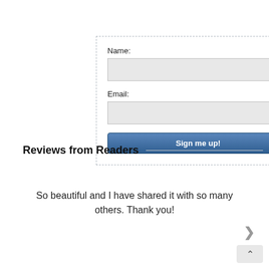[Figure (screenshot): A web form with Name and Email fields and a Sign me up! button, inside a dashed border box]
Reviews from Readers
So beautiful and I have shared it with so many others. Thank you!